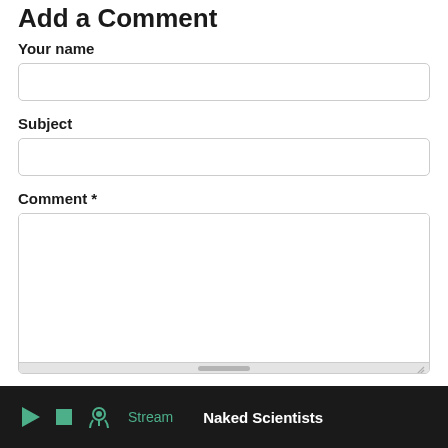Add a Comment
Your name
Subject
Comment *
POST
Stream  Naked Scientists